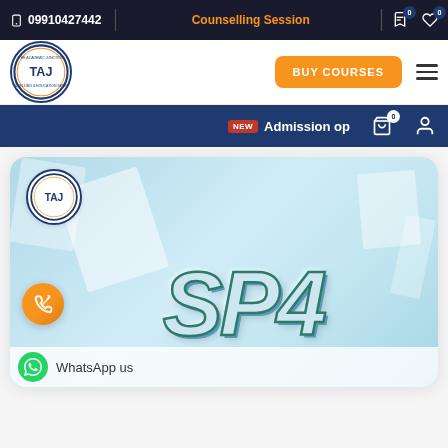09910427442 | Counselling Session
[Figure (logo): TAJ Academic Junction circular logo in navigation bar]
BUY COURSES
NEW  Admission op
[Figure (illustration): Hero banner with SP4 metallic 3D text on light blue background with paper/stationery elements and TAJ logo overlay]
WhatsApp us